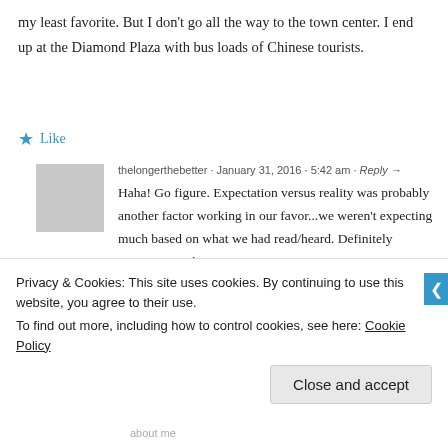my least favorite. But I don't go all the way to the town center. I end up at the Diamond Plaza with bus loads of Chinese tourists.
Like
thelongerthebetter · January 31, 2016 · 5:42 am · Reply →
Haha! Go figure. Expectation versus reality was probably another factor working in our favor...we weren't expecting much based on what we had read/heard. Definitely interesting to hear!
Like
Privacy & Cookies: This site uses cookies. By continuing to use this website, you agree to their use. To find out more, including how to control cookies, see here: Cookie Policy
Close and accept